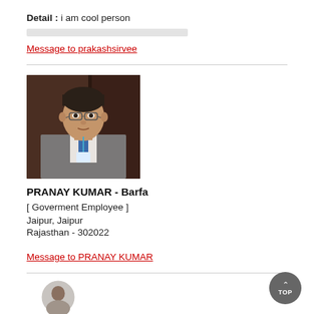Detail : i am cool person
Message to prakashsirvee
[Figure (photo): Profile photo of a young man wearing glasses, a grey suit jacket, white shirt and blue tie, standing indoors]
PRANAY KUMAR - Barfa
[ Goverment Employee ]
Jaipur, Jaipur
Rajasthan - 302022
Message to PRANAY KUMAR
[Figure (photo): Partial view of a circular avatar/profile photo at bottom of page]